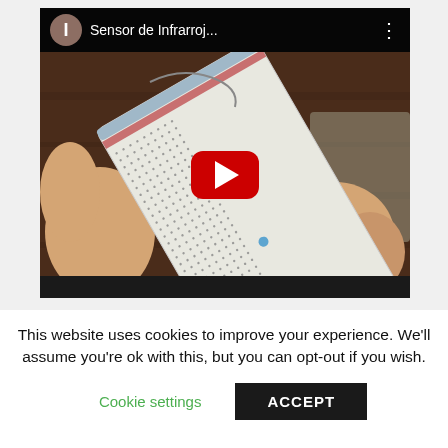[Figure (screenshot): YouTube video thumbnail showing a person holding a breadboard with electronic components, titled 'Sensor de Infrarroj...' with a red YouTube play button overlay and video controls bar at top.]
This website uses cookies to improve your experience. We'll assume you're ok with this, but you can opt-out if you wish.
Cookie settings
ACCEPT